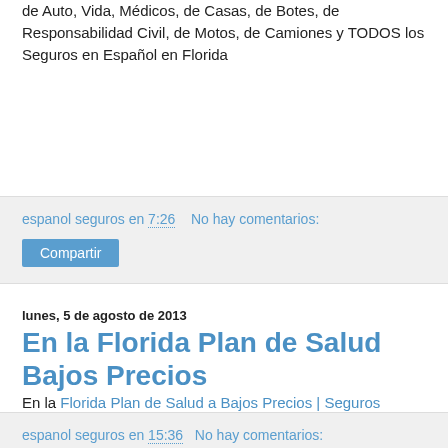de Auto, Vida, Médicos, de Casas, de Botes, de Responsabilidad Civil, de Motos, de Camiones y TODOS los Seguros en Español en Florida
espanol seguros en 7:26   No hay comentarios:
Compartir
lunes, 5 de agosto de 2013
En la Florida Plan de Salud Bajos Precios
En la Florida Plan de Salud a Bajos Precios | Seguros Médicos Seguro | Informacion de Seguros. Florida Plan de Salud a Bajos Precios: Miami, Hialeah, Homestead, Tampa, Orlando, Kissimmee, Windermere, Oviedo, Sanford, Poinciana, Palm Beach, Fort Lauderdale.
espanol seguros en 15:36   No hay comentarios: